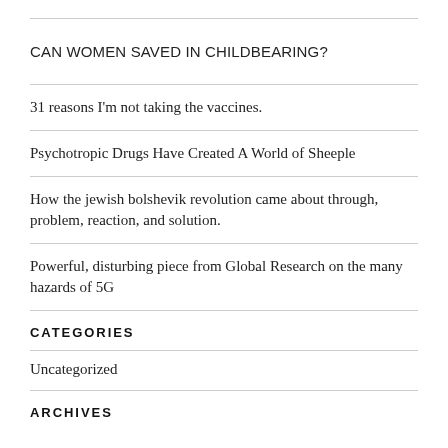CAN WOMEN SAVED IN CHILDBEARING?
31 reasons I'm not taking the vaccines.
Psychotropic Drugs Have Created A World of Sheeple
How the jewish bolshevik revolution came about through, problem, reaction, and solution.
Powerful, disturbing piece from Global Research on the many hazards of 5G
CATEGORIES
Uncategorized
ARCHIVES